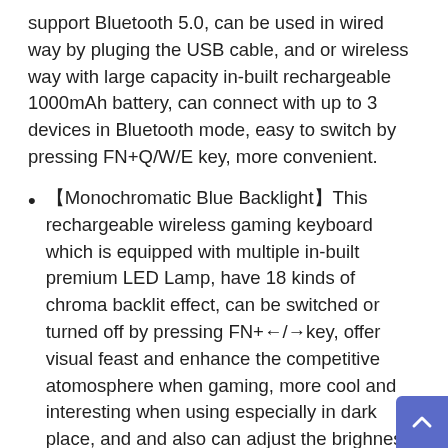support Bluetooth 5.0, can be used in wired way by pluging the USB cable, and or wireless way with large capacity in-built rechargeable 1000mAh battery, can connect with up to 3 devices in Bluetooth mode, easy to switch by pressing FN+Q/W/E key, more convenient.
【Monochromatic Blue Backlight】This rechargeable wireless gaming keyboard which is equipped with multiple in-built premium LED Lamp, have 18 kinds of chroma backlit effect, can be switched or turned off by pressing FN+←/→key, offer visual feast and enhance the competitive atomosphere when gaming, more cool and interesting when using especially in dark place, and and also can adjust the brighness to if you need.
【60% Mini Compact Keyboard】This portable gaming keyboard is designed with 68 key layout with lightweight, mini size, rechargeable battery, dual connection method, easy to carry and use whenever and wherever you want, can be changed between wired mode or wireless mode by